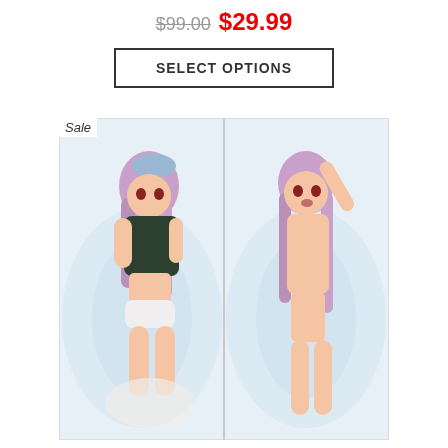$99.00  $29.99
SELECT OPTIONS
[Figure (illustration): Product listing image showing an anime-style body pillow cover (dakimakura) with two sides displayed side by side. Left side shows an anime girl character in a dark shirt and white underwear lying on a light blue floral background with a 'Sale' badge overlay. Right side shows the reverse/other side of the pillow cover with the same character in a different pose on the same blue background.]
Sale